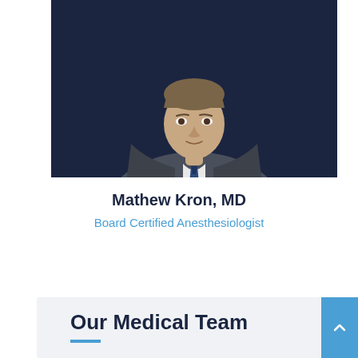[Figure (photo): Professional headshot of Dr. Mathew Kron in a dark grey suit with a navy blue tie, against a dark navy background]
Mathew Kron, MD
Board Certified Anesthesiologist
Our Medical Team